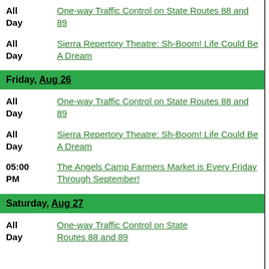All Day — One-way Traffic Control on State Routes 88 and 89
All Day — Sierra Repertory Theatre: Sh-Boom! Life Could Be A Dream
Friday, Aug 26
All Day — One-way Traffic Control on State Routes 88 and 89
All Day — Sierra Repertory Theatre: Sh-Boom! Life Could Be A Dream
05:00 PM — The Angels Camp Farmers Market is Every Friday Through September!
Saturday, Aug 27
All Day — One-way Traffic Control on State Routes 88 and 89